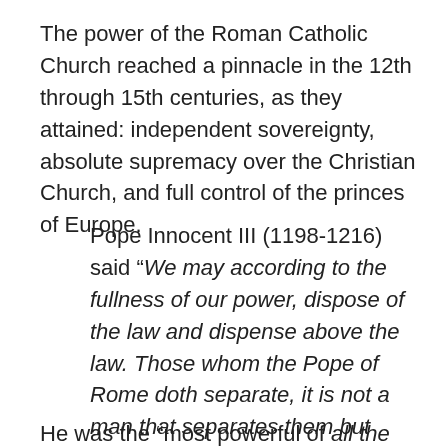The power of the Roman Catholic Church reached a pinnacle in the 12th through 15th centuries, as they attained: independent sovereignty, absolute supremacy over the Christian Church, and full control of the princes of Europe.
Pope Innocent III (1198-1216) said “We may according to the fullness of our power, dispose of the law and dispense above the law. Those whom the Pope of Rome doth separate, it is not a man that separates them but God. For the Pope holdeth place on earth, not simply of a man but of the true God.” (Source: “Decretals of Greogory IX,” Book 1, chapter 3.)
He was the “most powerful of all the Popes.” He